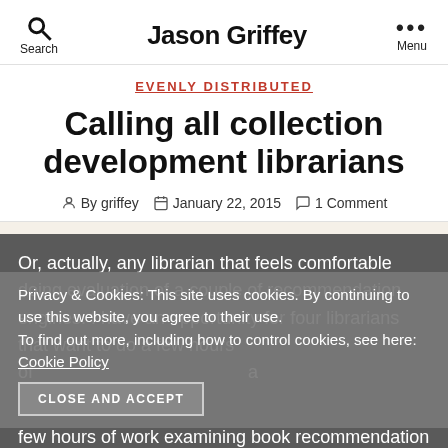Jason Griffey
EVENLY DISTRIBUTED
Calling all collection development librarians
By griffey   January 22, 2015   1 Comment
Or, actually, any librarian that feels comfortable doing evaluation of a couple of recommendation engines. I have an opportunity for four librarians that want to do a few hours of work examining book recommendation engines, take notes and write up their findings in a couple of pages, and get paid for the work. The general idea is to see which of two engines provide
Privacy & Cookies: This site uses cookies. By continuing to use this website, you agree to their use. To find out more, including how to control cookies, see here: Cookie Policy
CLOSE AND ACCEPT